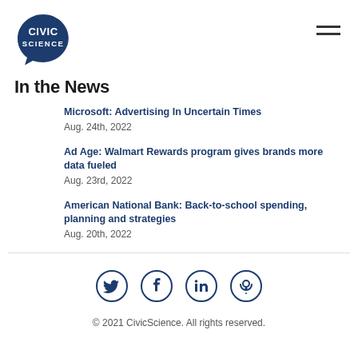[Figure (logo): CivicScience logo – dark blue speech bubble with CIVIC SCIENCE text in white]
In the News
Microsoft: Advertising In Uncertain Times
Aug. 24th, 2022
Ad Age: Walmart Rewards program gives brands more data fueled
Aug. 23rd, 2022
American National Bank: Back-to-school spending, planning and strategies
Aug. 20th, 2022
[Figure (illustration): Social media icon row: Twitter, Facebook, LinkedIn, Podcast – dark blue circle outlines]
© 2021 CivicScience. All rights reserved.